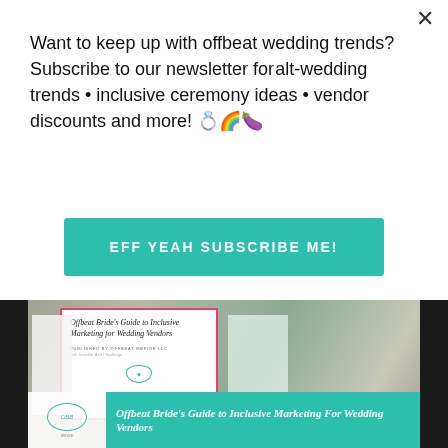Want to keep up with offbeat wedding trends?Subscribe to our newsletter for alt-wedding trends • inclusive ceremony ideas • vendor discounts and more! 💍🌈🍆
[Figure (other): A teal/green subscribe button with white uppercase text: EFF YEAH SUBSCRIBE ME!]
[Figure (photo): Photo of Offbeat Bride's Guide to Inclusive Marketing for Wedding Vendors book mockup on a desk with a succulent, coffee cup, and teal banner at bottom reading Offbeat Bride's Guide to Inclusive Marketing For Wedding Vendors]